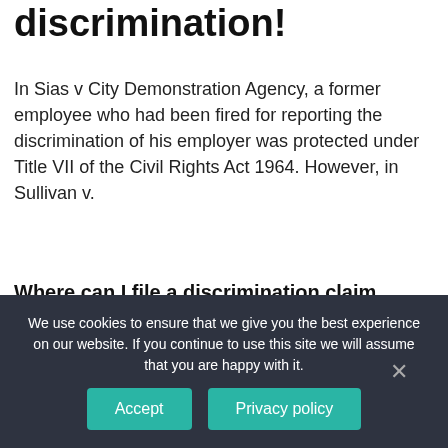discrimination!
In Sias v City Demonstration Agency, a former employee who had been fired for reporting the discrimination of his employer was protected under Title VII of the Civil Rights Act 1964. However, in Sullivan v.
Where can I file a discrimination claim against an employer?
Employees are generally aware that they are protected from retaliation by an employer after
We use cookies to ensure that we give you the best experience on our website. If you continue to use this site we will assume that you are happy with it.